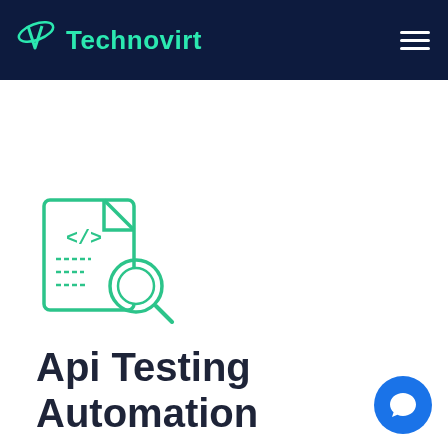Technovirt
[Figure (illustration): Green icon of a code/document file with a magnifying glass overlaid, representing API testing]
Api Testing Automation
We design and configure API integration testing platforms to